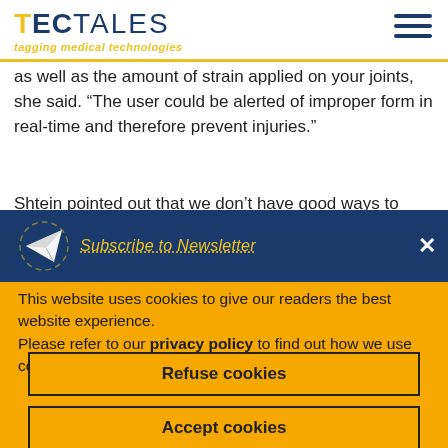TECTALES tagging medical technologies
as well as the amount of strain applied on your joints,” she said. “The user could be alerted of improper form in real-time and therefore prevent injuries.”
Shtein pointed out that we don’t have good ways to measure joints and un... suggests tha...
[Figure (screenshot): Newsletter subscription popup bar with paper airplane icon and 'Subscribe to Newsletter' text, with a close X button, overlaying the article text.]
This website uses cookies to give our readers the best website experience.
Please refer to our privacy policy to find out how we use cookies and how you can edit your preferences.
Refuse cookies
Accept cookies